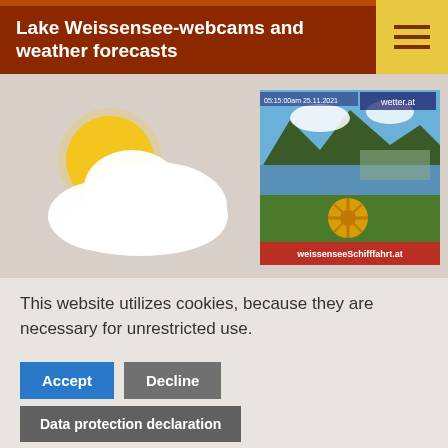Lake Weissensee-webcams and weather forecasts
[Figure (photo): Partly cloudy weather icon with sun behind cloud]
[Figure (photo): Webcam image of Lake Weissensee showing alpine lake, mountains, and town with wetter.at and weissensee schifffahrt.at watermarks]
Important Links:
[Figure (screenshot): Facebook banner showing 'folgen Sie uns auf Facebook' with Facebook logo icon]
This website utilizes cookies, because they are necessary for unrestricted use.
Accept
Decline
Data protection declaration